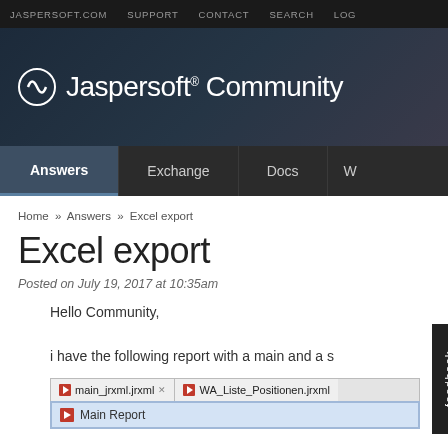JASPERSOFT.COM  SUPPORT  CONTACT  SEARCH  LOG
[Figure (screenshot): Jaspersoft Community banner with logo and navigation tabs: Answers, Exchange, Docs, W]
Home » Answers » Excel export
Excel export
Posted on July 19, 2017 at 10:35am
Hello Community,
i have the following report with a main and a s
[Figure (screenshot): Screenshot showing tabs: main_jrxml.jrxml and WA_Liste_Positionen.jrxml, with a folder item Main Report]